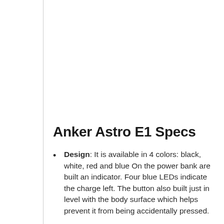Anker Astro E1 Specs
Design: It is available in 4 colors: black, white, red and blue On the power bank are built an indicator. Four blue LEDs indicate the charge left. The button also built just in level with the body surface which helps prevent it from being accidentally pressed.
Capacity: The 5,200mAh battery is enough to recharge a normal usage iPhone 5s twice. To recharge this unit itself takes about 5 hours with a 1 amp micro USB charger.